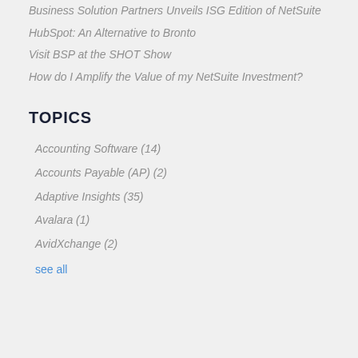Business Solution Partners Unveils ISG Edition of NetSuite
HubSpot: An Alternative to Bronto
Visit BSP at the SHOT Show
How do I Amplify the Value of my NetSuite Investment?
TOPICS
Accounting Software (14)
Accounts Payable (AP) (2)
Adaptive Insights (35)
Avalara (1)
AvidXchange (2)
see all